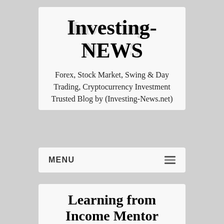Investing-NEWS
Forex, Stock Market, Swing & Day Trading, Cryptocurrency Investment Trusted Blog by (Investing-News.net)
MENU
Learning from Income Mentor